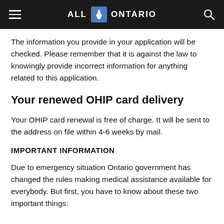ALL ONTARIO
The information you provide in your application will be checked. Please remember that it is against the law to knowingly provide incorrect information for anything related to this application.
Your renewed OHIP card delivery
Your OHIP card renewal is free of charge. It will be sent to the address on file within 4-6 weeks by mail.
IMPORTANT INFORMATION
Due to emergency situation Ontario government has changed the rules making medical assistance available for everybody. But first, you have to know about these two important things: